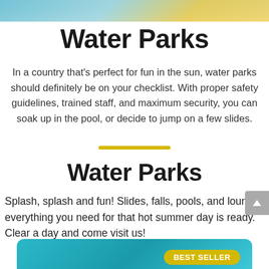[Figure (photo): Top portion of a water park photo showing water and a yellow float, cropped at top of page]
Water Parks
In a country that's perfect for fun in the sun, water parks should definitely be on your checklist. With proper safety guidelines, trained staff, and maximum security, you can soak up in the pool, or decide to jump on a few slides.
Water Parks
Splash, splash and fun! Slides, falls, pools, and lounge, everything you need for that hot summer day is ready. Clear a day and come visit us!
[Figure (photo): Water park pool photo with teal/blue water, partially visible at bottom of page, with a BEST SELLER badge overlay]